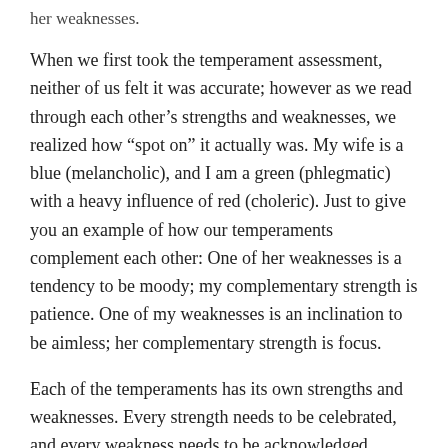her weaknesses.
When we first took the temperament assessment, neither of us felt it was accurate; however as we read through each other’s strengths and weaknesses, we realized how “spot on” it actually was. My wife is a blue (melancholic), and I am a green (phlegmatic) with a heavy influence of red (choleric). Just to give you an example of how our temperaments complement each other: One of her weaknesses is a tendency to be moody; my complementary strength is patience. One of my weaknesses is an inclination to be aimless; her complementary strength is focus.
Each of the temperaments has its own strengths and weaknesses. Every strength needs to be celebrated, and every weakness needs to be acknowledged. Knowing the strengths and weaknesses for ourselves and others not only helps us to grow but also helps us to serve